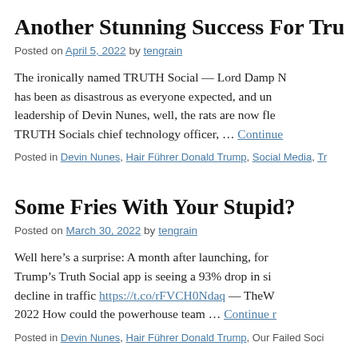Another Stunning Success For Trump P
Posted on April 5, 2022 by tengrain
The ironically named TRUTH Social — Lord Damp N has been as disastrous as everyone expected, and un leadership of Devin Nunes, well, the rats are now fle TRUTH Socials chief technology officer, … Continue
Posted in Devin Nunes, Hair Führer Donald Trump, Social Media, Tr
Some Fries With Your Stupid?
Posted on March 30, 2022 by tengrain
Well here's a surprise: A month after launching, for Trump's Truth Social app is seeing a 93% drop in si decline in traffic https://t.co/rFVCH0Ndaq — TheW 2022 How could the powerhouse team … Continue r
Posted in Devin Nunes, Hair Führer Donald Trump, Our Failed Soci